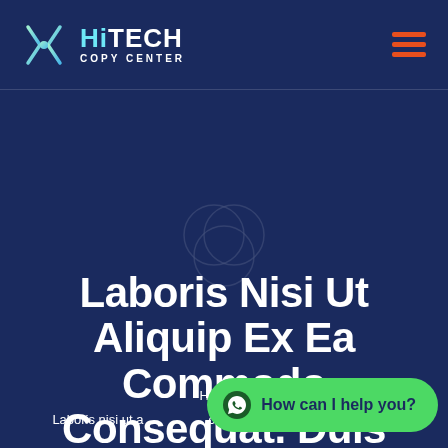[Figure (logo): HiTECH Copy Center logo with stylized X icon in teal/green gradient and white text]
[Figure (illustration): Hamburger menu icon with three orange horizontal bars]
[Figure (illustration): Decorative overlapping circles outline in faint white]
Laboris Nisi Ut Aliquip Ex Ea Commodo Consequat. Duis Aute Irure Dolor.
Home »
Laboris nisi ut aliquip ex ea commodo consequat. Duis aute irure dolor.
[Figure (illustration): Green WhatsApp chat bubble button with WhatsApp icon and text 'How can I help you?']